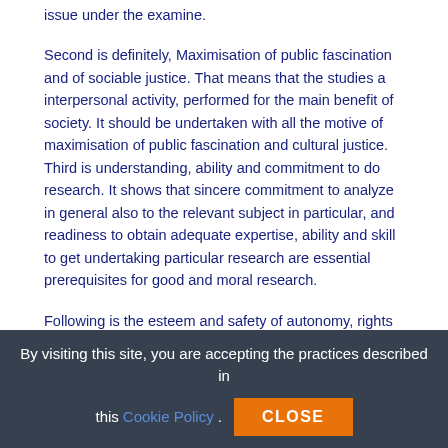issue under the examine.
Second is definitely, Maximisation of public fascination and of sociable justice. That means that the studies a interpersonal activity, performed for the main benefit of society. It should be undertaken with all the motive of maximisation of public fascination and cultural justice. Third is understanding, ability and commitment to do research. It shows that sincere commitment to analyze in general also to the relevant subject in particular, and readiness to obtain adequate expertise, ability and skill to get undertaking particular research are essential prerequisites for good and moral research.
Following is the esteem and safety of autonomy, rights and dignity of participants. This research involving participation of individual must not only value, but also protect the autonomy, the rights and the dignity of participants. The participation of individual should be voluntary and based on up to date consent. Subsequent is the privateness, anonymity and confidentiality.
By visiting this site, you are accepting the practices described in this Cookie Policy. CLOSE